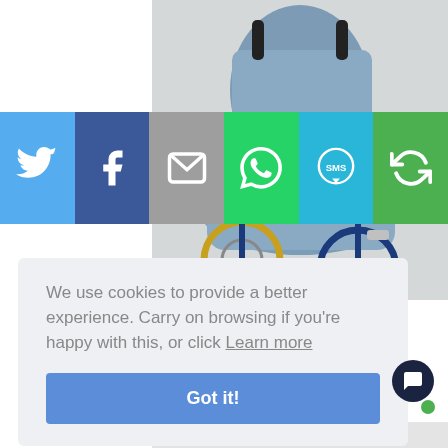[Figure (photo): Wheelchair with blue padded leg/lap cover and cushion, on white/grey background]
[Figure (infographic): Social sharing bar with six buttons: Twitter (blue bird icon), Facebook (dark blue f icon), Email (grey envelope icon), WhatsApp (green phone/speech icon), SMS (blue SMS speech bubble icon), Share (green circular arrows icon)]
We use cookies to provide a better experience. Carry on browsing if you're happy with this, or click Learn more
Got it!
INCL. VAT: